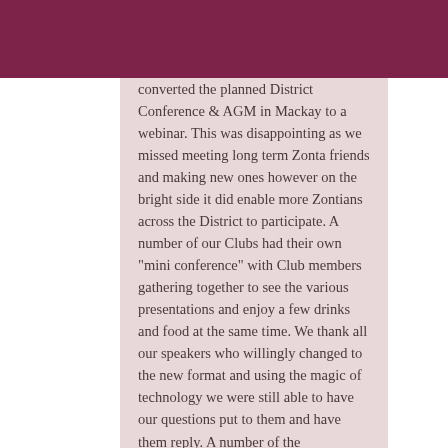converted the planned District Conference & AGM in Mackay to a webinar. This was disappointing as we missed meeting long term Zonta friends and making new ones however on the bright side it did enable more Zontians across the District to participate. A number of our Clubs had their own "mini conference" with Club members gathering together to see the various presentations and enjoy a few drinks and food at the same time. We thank all our speakers who willingly changed to the new format and using the magic of technology we were still able to have our questions put to them and have them reply. A number of the presentations have been loaded on this site and can be accessed by members.    See more details on our District Conference Page.